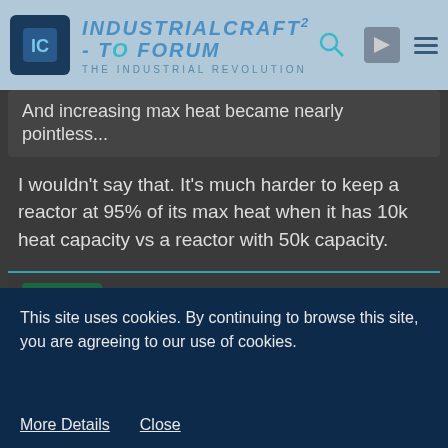IndustrialCraft² - The Forum · The Industrial Revolution
And increasing max heat became nearly pointless...
I wouldn't say that. It's much harder to keep a reactor at 95% of its max heat when it has 10k heat capacity vs a reactor with 50k capacity.
Speleomantes
Tree Cutter
Sep 26th 2013
Quote from Omicron
This site uses cookies. By continuing to browse this site, you are agreeing to our use of cookies.
More Details   Close